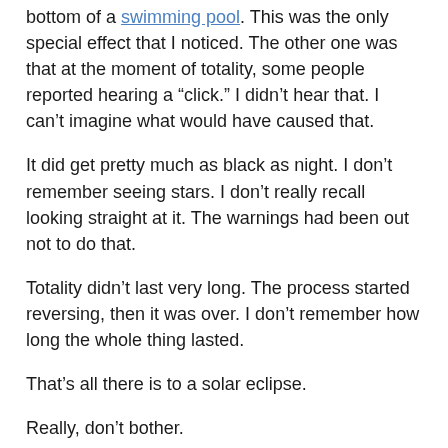bottom of a swimming pool.  This was the only special effect that I noticed.  The other one was that at the moment of totality, some people reported hearing a “click.”  I didn’t hear that.  I can’t imagine what would have caused that.
It did get pretty much as black as night.  I don’t remember seeing stars. I don’t really recall looking straight at it.  The warnings had been out not to do that.
Totality didn’t last very long.  The process started reversing, then it was over.  I don’t remember how long the whole thing lasted.
That’s all there is to a solar eclipse.
Really, don’t bother.